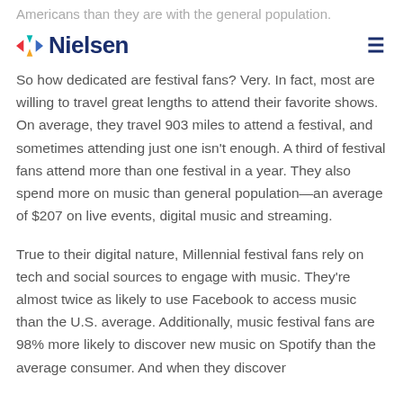Americans than they are with the general population.
Nielsen
So how dedicated are festival fans? Very. In fact, most are willing to travel great lengths to attend their favorite shows. On average, they travel 903 miles to attend a festival, and sometimes attending just one isn't enough. A third of festival fans attend more than one festival in a year. They also spend more on music than general population—an average of $207 on live events, digital music and streaming.
True to their digital nature, Millennial festival fans rely on tech and social sources to engage with music. They're almost twice as likely to use Facebook to access music than the U.S. average. Additionally, music festival fans are 98% more likely to discover new music on Spotify than the average consumer. And when they discover